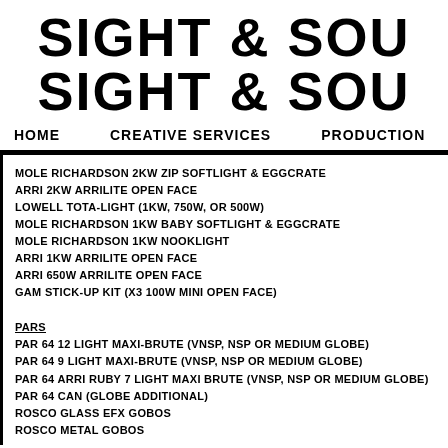SIGHT & SOUN
HOME   CREATIVE SERVICES   PRODUCTION
MOLE RICHARDSON 2KW ZIP SOFTLIGHT & EGGCRATE
ARRI 2KW ARRILITE OPEN FACE
LOWELL TOTA-LIGHT (1KW, 750W, OR 500W)
MOLE RICHARDSON 1KW BABY SOFTLIGHT & EGGCRATE
MOLE RICHARDSON 1KW NOOKLIGHT
ARRI 1KW ARRILITE OPEN FACE
ARRI 650W ARRILITE OPEN FACE
GAM STICK-UP KIT (X3 100W MINI OPEN FACE)
PARS
PAR 64 12 LIGHT MAXI-BRUTE (VNSP, NSP OR MEDIUM GLOBE)
PAR 64 9 LIGHT MAXI-BRUTE (VNSP, NSP OR MEDIUM GLOBE)
PAR 64 ARRI RUBY 7 LIGHT MAXI BRUTE (VNSP, NSP OR MEDIUM GLOBE)
PAR 64 CAN (GLOBE ADDITIONAL)
ROSCO GLASS EFX GOBOS
ROSCO METAL GOBOS